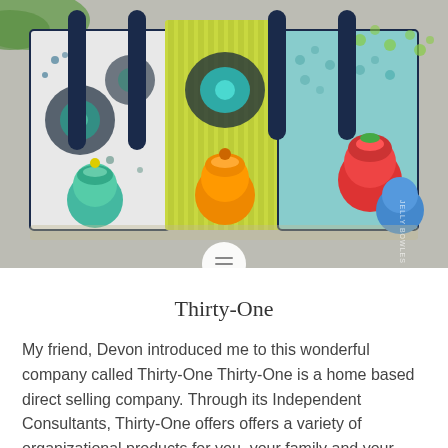[Figure (photo): A colorful patterned tote bag with multiple pockets, holding children's sippy cups and bottles in bright colors (teal, orange, red), photographed on a concrete surface. The bag has navy blue handles and features floral/geometric prints in teal, lime green, navy, and white.]
Thirty-One
My friend, Devon introduced me to this wonderful company called Thirty-One Thirty-One is a home based direct selling company.  Through its Independent Consultants, Thirty-One offers offers a variety of organizational products for you, your family and your home.  Not only that, Thirty-One